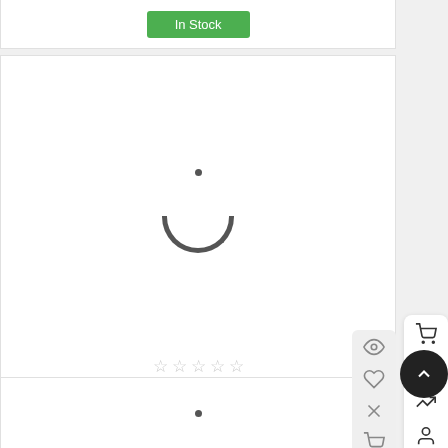[Figure (screenshot): E-commerce product listing page showing shopping bag product with loading spinner (smiley face icon), star ratings, product name, price, and in stock buttons, with sidebar navigation icons]
Shopping bag "It suits you"
€5.00 Tax included
In Stock